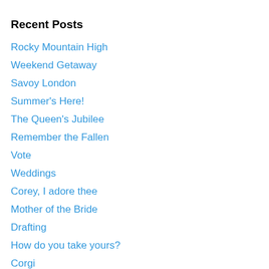Recent Posts
Rocky Mountain High
Weekend Getaway
Savoy London
Summer's Here!
The Queen's Jubilee
Remember the Fallen
Vote
Weddings
Corey, I adore thee
Mother of the Bride
Drafting
How do you take yours?
Corgi
Mood: Winter
Snow Day
Happy Valentine's Day
Platinum Jubilee